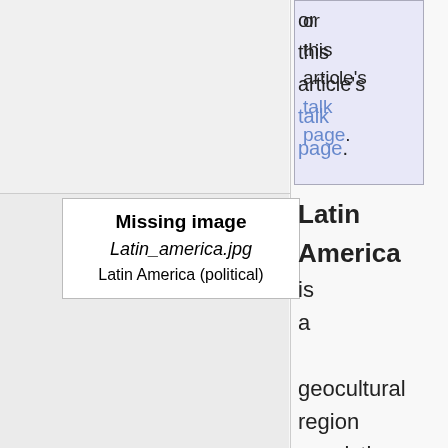or this article's talk page.
[Figure (other): Missing image placeholder box with bold title 'Missing image', italic filename 'Latin_america.jpg', and caption 'Latin America (political)']
Latin America is a geocultural region consisting of countries on